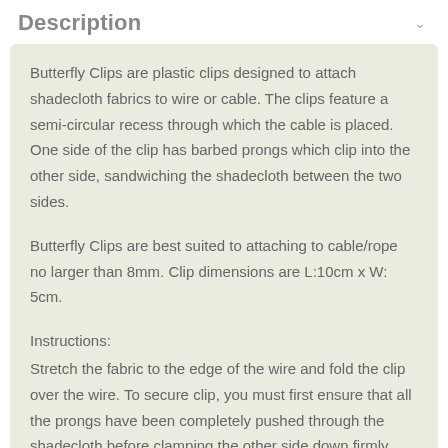Description
Butterfly Clips are plastic clips designed to attach shadecloth fabrics to wire or cable. The clips feature a semi-circular recess through which the cable is placed. One side of the clip has barbed prongs which clip into the other side, sandwiching the shadecloth between the two sides.
Butterfly Clips are best suited to attaching to cable/rope no larger than 8mm. Clip dimensions are L:10cm x W: 5cm.
Instructions:
Stretch the fabric to the edge of the wire and fold the clip over the wire. To secure clip, you must first ensure that all the prongs have been completely pushed through the shadecloth before clamping the other side down firmly. When applying to mesh fencing attach the clip diagonally.